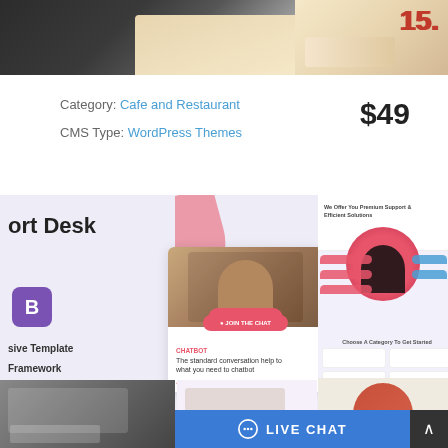[Figure (screenshot): Top banner screenshots showing a cafe/restaurant theme preview with decorative elements and a number '15.' visible on the right portion]
Category: Cafe and Restaurant
$49
CMS Type: WordPress Themes
[Figure (screenshot): Support Desk WordPress theme preview showing: left panel with theme name 'ort Desk', Bootstrap B icon, features list (sive Template, framework, es (CSS3), s); center chat card with agent photo and chatbot text; right panel showing website preview with support agent and chat interface; bottom strip with additional page previews; Live Chat button in bottom right]